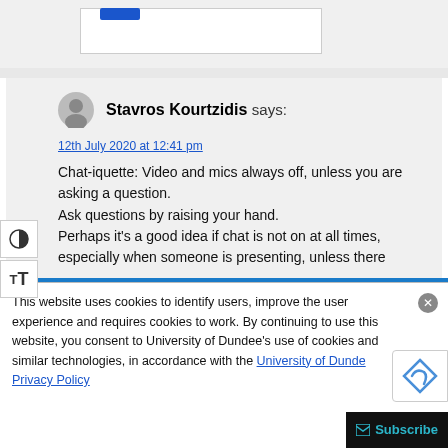[Figure (screenshot): Top partial section with light gray background and a small blue button element visible]
Stavros Kourtzidis says:
12th July 2020 at 12:41 pm
Chat-iquette: Video and mics always off, unless you are asking a question.
Ask questions by raising your hand.
Perhaps it's a good idea if chat is not on at all times, especially when someone is presenting, unless there
This website uses cookies to identify users, improve the user experience and requires cookies to work. By continuing to use this website, you consent to University of Dundee's use of cookies and similar technologies, in accordance with the University of Dundee Privacy Policy